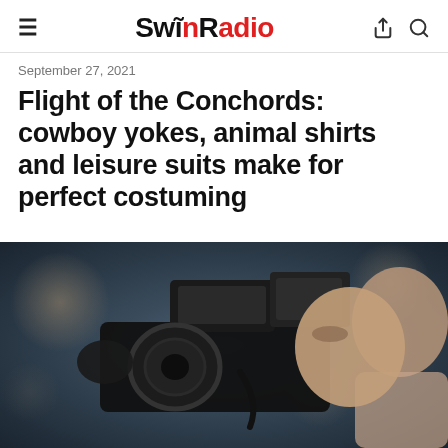SwinRadio
September 27, 2021
Flight of the Conchords: cowboy yokes, animal shirts and leisure suits make for perfect costuming
[Figure (photo): Photographer holding a camera with flash at an event, side profile view, dark background with bokeh lighting]